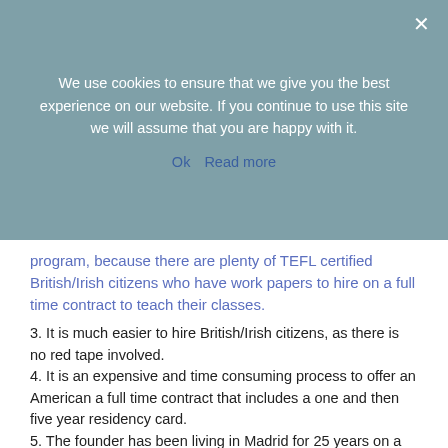We use cookies to ensure that we give you the best experience on our website. If you continue to use this site we will assume that you are happy with it.
Ok   Read more
program, because there are plenty of TEFL certified British/Irish citizens who have work papers to hire on a full time contract to teach their classes.
3. It is much easier to hire British/Irish citizens, as there is no red tape involved.
4. It is an expensive and time consuming process to offer an American a full time contract that includes a one and then five year residency card.
5. The founder has been living in Madrid for 25 years on a renewable residency card and is more than happy to do the same thing for you.